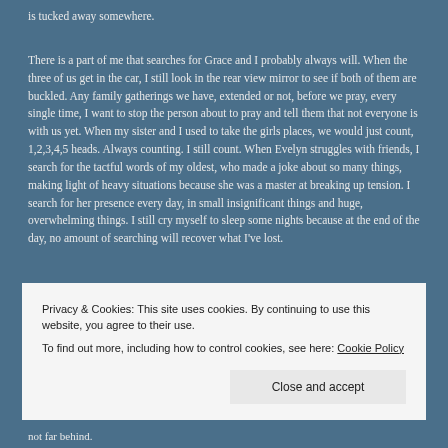is tucked away somewhere.
There is a part of me that searches for Grace and I probably always will. When the three of us get in the car, I still look in the rear view mirror to see if both of them are buckled. Any family gatherings we have, extended or not, before we pray, every single time, I want to stop the person about to pray and tell them that not everyone is with us yet. When my sister and I used to take the girls places, we would just count, 1,2,3,4,5 heads. Always counting. I still count. When Evelyn struggles with friends, I search for the tactful words of my oldest, who made a joke about so many things, making light of heavy situations because she was a master at breaking up tension. I search for her presence every day, in small insignificant things and huge, overwhelming things. I still cry myself to sleep some nights because at the end of the day, no amount of searching will recover what I've lost.
Privacy & Cookies: This site uses cookies. By continuing to use this website, you agree to their use.
To find out more, including how to control cookies, see here: Cookie Policy
not far behind.